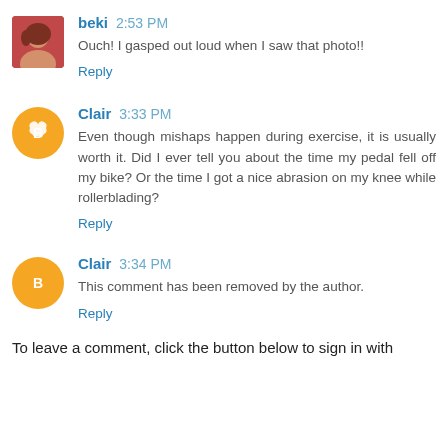beki 2:53 PM
Ouch! I gasped out loud when I saw that photo!!
Reply
Clair 3:33 PM
Even though mishaps happen during exercise, it is usually worth it. Did I ever tell you about the time my pedal fell off my bike? Or the time I got a nice abrasion on my knee while rollerblading?
Reply
Clair 3:34 PM
This comment has been removed by the author.
Reply
To leave a comment, click the button below to sign in with